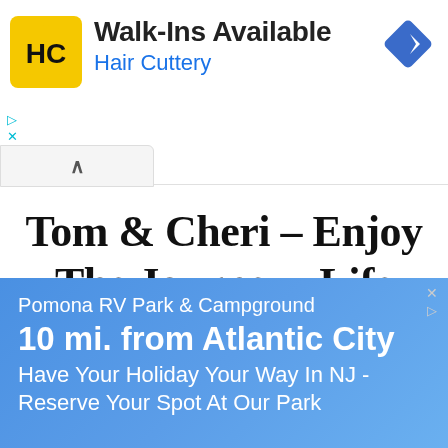[Figure (advertisement): Hair Cuttery ad banner with yellow HC logo, text 'Walk-Ins Available' and 'Hair Cuttery', and a blue navigation/direction icon top right]
Tom & Cheri – Enjoy The Journey . Life
RV Living & Full Time Travelers
[Figure (advertisement): Blue gradient ad banner for Pomona RV Park & Campground: '10 mi. from Atlantic City', 'Have Your Holiday Your Way In NJ - Reserve Your Spot At Our Park']